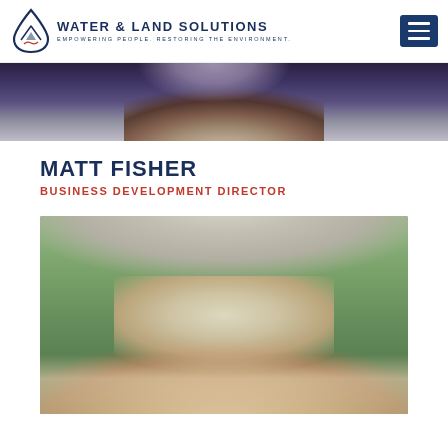[Figure (logo): Water & Land Solutions logo — drop shape with mountain, text WATER & LAND SOLUTIONS, EMPOWERING PEOPLE. RESTORING THE ENVIRONMENT.]
[Figure (photo): Partial photo of a person in a dark suit and blue tie, cropped showing chest/shoulders/lower face area]
MATT FISHER
BUSINESS DEVELOPMENT DIRECTOR
[Figure (photo): Portrait photo of Matt Fisher, an older man with white/gray hair, beard and mustache, wearing glasses and a light blue shirt, smiling, with blurred green foliage background]